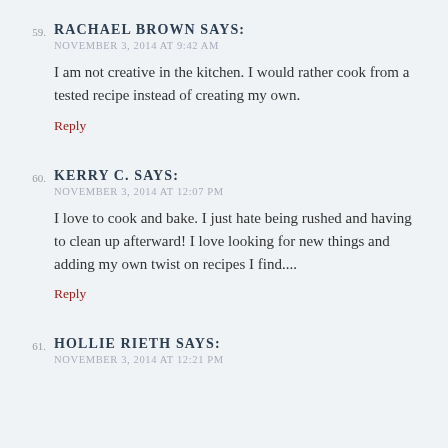59. RACHAEL BROWN SAYS:
NOVEMBER 3, 2014 AT 9:42 AM
I am not creative in the kitchen. I would rather cook from a tested recipe instead of creating my own.
Reply
60. KERRY C. SAYS:
NOVEMBER 3, 2014 AT 12:07 PM
I love to cook and bake. I just hate being rushed and having to clean up afterward! I love looking for new things and adding my own twist on recipes I find....
Reply
61. HOLLIE RIETH SAYS:
NOVEMBER 3, 2014 AT 12:21 PM